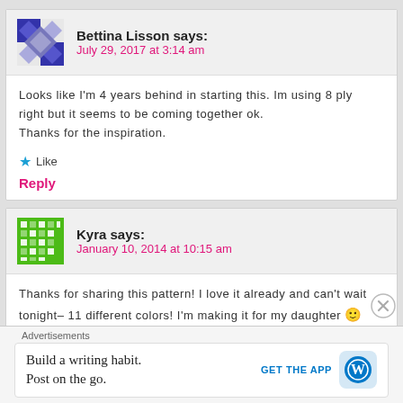Bettina Lisson says:
July 29, 2017 at 3:14 am
Looks like I'm 4 years behind in starting this. Im using 8 ply right but it seems to be coming together ok.
Thanks for the inspiration.
★ Like
Reply
Kyra says:
January 10, 2014 at 10:15 am
Thanks for sharing this pattern! I love it already and can't wait tonight– 11 different colors! I'm making it for my daughter 🙂
Advertisements
Build a writing habit.
Post on the go.
GET THE APP